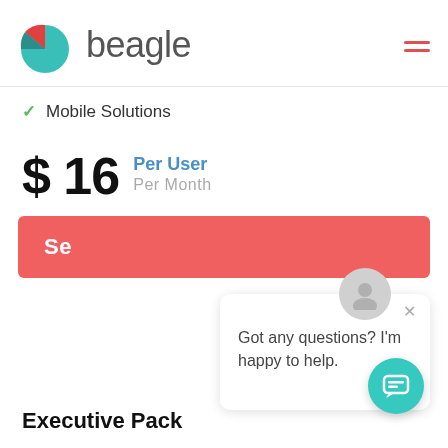[Figure (logo): Beagle logo with teal/red pie-chart icon and grey 'beagle' wordmark]
✓ Mobile Solutions
$ 16  Per User  Per Month
Se[lect]
[Figure (screenshot): Chat support popup with avatar, close button, and message: Got any questions? I'm happy to help.]
[Figure (other): Teal circular chat button at bottom right]
Executive Pack